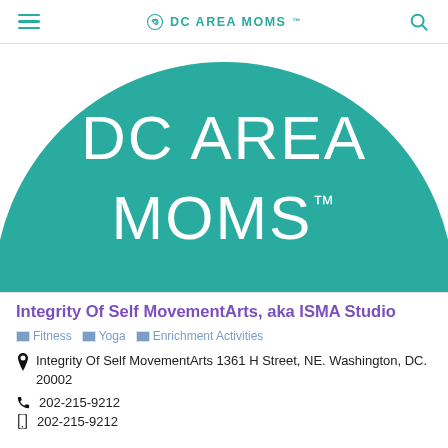DC AREA MOMS™
[Figure (logo): DC Area Moms logo — teal semicircle with white text reading 'DC AREA MOMS™']
Integrity Of Self MovementArts, aka ISMA Studio
Fitness  Yoga  Enrichment Activities
Integrity Of Self MovementArts 1361 H Street, NE. Washington, DC. 20002
202-215-9212
202-215-9212